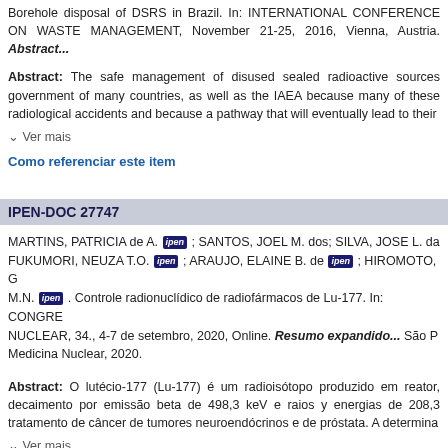Borehole disposal of DSRS in Brazil. In: INTERNATIONAL CONFERENCE ON WASTE MANAGEMENT, November 21-25, 2016, Vienna, Austria. Abstract...
Abstract: The safe management of disused sealed radioactive sources government of many countries, as well as the IAEA because many of these radiological accidents and because a pathway that will eventually lead to their
∨ Ver mais
Como referenciar este item
IPEN-DOC 27747
MARTINS, PATRICIA de A. [ipen] ; SANTOS, JOEL M. dos; SILVA, JOSE L. da FUKUMORI, NEUZA T.O. [ipen] ; ARAUJO, ELAINE B. de [ipen] ; HIROMOTO, G M.N. [ipen] . Controle radionuclídico de radiofármacos de Lu-177. In: CONGRE NUCLEAR, 34., 4-7 de setembro, 2020, Online. Resumo expandido... São P Medicina Nuclear, 2020.
Abstract: O lutécio-177 (Lu-177) é um radioisótopo produzido em reator, decaimento por emissão beta de 498,3 keV e raios y energias de 208,3 tratamento de câncer de tumores neuroendócrinos e de próstata. A determina
∨ Ver mais
Como referenciar este item